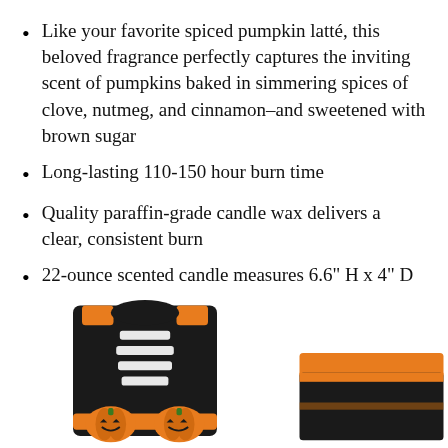Like your favorite spiced pumpkin latté, this beloved fragrance perfectly captures the inviting scent of pumpkins baked in simmering spices of clove, nutmeg, and cinnamon–and sweetened with brown sugar
Long-lasting 110-150 hour burn time
Quality paraffin-grade candle wax delivers a clear, consistent burn
22-ounce scented candle measures 6.6" H x 4" D
Natural fiber candle wick delivers the best burn for each fragrance
[Figure (photo): Halloween costume items: a black tank top with skeleton ribcage cutout design and pumpkin jack-o-lantern graphics at the bottom, and orange/black Halloween shorts partially visible on the right side]